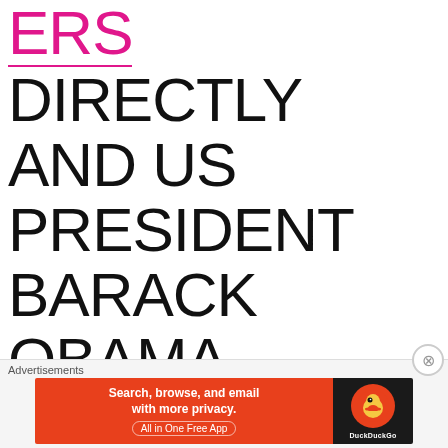ERS DIRECTLY AND US PRESIDENT BARACK OBAMA CELEBRATIONS AT WHITE HOUSE. AND JUST FOR AN INFO UN
Advertisements
[Figure (infographic): DuckDuckGo advertisement banner: 'Search, browse, and email with more privacy. All in One Free App' on orange background with DuckDuckGo duck logo on dark background.]